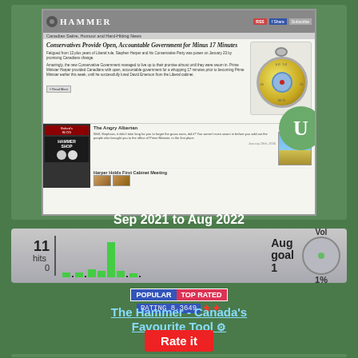[Figure (screenshot): Screenshot of 'The Hammer - Canada's Favourite Tool' satirical news website showing article 'Conservatives Provide Open, Accountable Government for Minus 17 Minutes' with stopwatch image and blog sections]
Sep 2021 to Aug 2022
[Figure (bar-chart): Bar chart showing website hits from Sep 2021 to Aug 2022, max 11 in one month. Aug goal: 1. Vol: 1%]
[Figure (infographic): POPULAR TOP RATED badge, RATING 8.3649 with two red stars]
The Hammer - Canada's Favourite Tool
Rate it